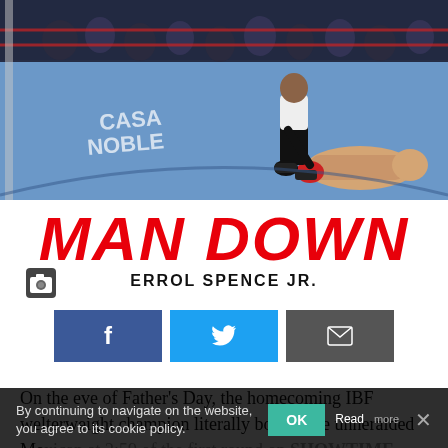[Figure (photo): Boxing match photo: a referee kneels over a fallen fighter on a blue boxing ring canvas. Sponsor banners including 'Casa Noble' visible. Arena crowd in background.]
MAN DOWN
ERROL SPENCE JR.
[Figure (infographic): Three social sharing buttons: Facebook (blue with f icon), Twitter (light blue with bird icon), Email (grey with envelope icon)]
On the eve of Father's Day, the homecoming IBF welterweight champion literally bodied the unheralded Mexican at 2:59 of the first round on SHOWTIME. And in the process, it only gave birth to a hot rivalry with WBO welterweight champion Terence Crawford.
By continuing to navigate on the website, you agree to its cookie policy.